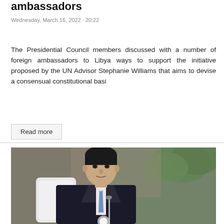ambassadors
Wednesday, March 16, 2022 · 20:22
The Presidential Council members discussed with a number of foreign ambassadors to Libya ways to support the initiative proposed by the UN Advisor Stephanie Williams that aims to devise a consensual constitutional basi
Read more
[Figure (photo): A man in a dark suit with a light blue tie seated at a table with a microphone, tropical plants visible in the background]